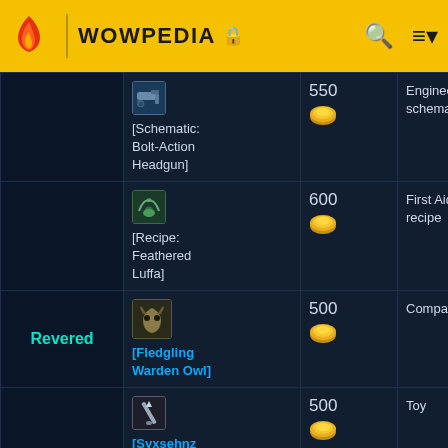WOWPEDIA
| Reputation | Item | Cost | Type |  |
| --- | --- | --- | --- | --- |
|  | [Schematic: Bolt-Action Headgun] | 550 gold | Engineering schematic | Ra... |
|  | [Recipe: Feathered Luffa] | 600 gold | First Aid recipe |  |
| Revered | [Fledgling Warden Owl] | 500 gold | Companion |  |
| Revered | [Syxsehnz Rod] | 500 gold | Toy |  |
| Revered | [Vault Patroller's | 1,000 | Plate boots |  |